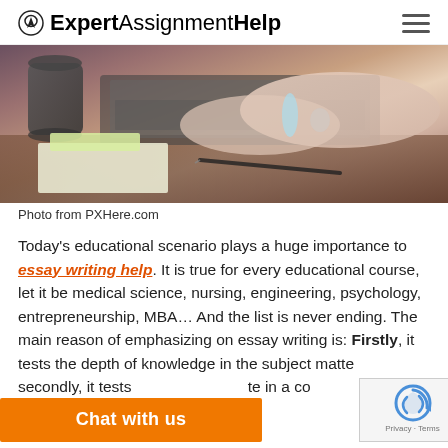ExpertAssignmentHelp
[Figure (photo): Person typing on a laptop at a desk with a coffee mug and notes with a pen in the foreground, viewed from above at an angle]
Photo from PXHere.com
Today's educational scenario plays a huge importance to essay writing help. It is true for every educational course, let it be medical science, nursing, engineering, psychology, entrepreneurship, MBA... And the list is never ending. The main reason of emphasizing on essay writing is: Firstly, it tests the depth of knowledge in the subject matter; secondly, it tests [obscured] te in a co[nvenient] way as an essay [obscured] eed.